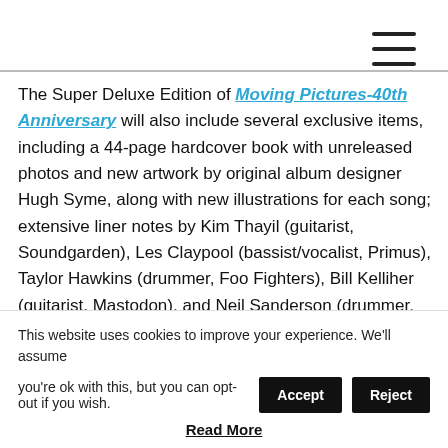[Figure (other): Hamburger menu icon (three horizontal lines) in top-right corner]
The Super Deluxe Edition of Moving Pictures-40th Anniversary will also include several exclusive items, including a 44-page hardcover book with unreleased photos and new artwork by original album designer Hugh Syme, along with new illustrations for each song; extensive liner notes by Kim Thayil (guitarist, Soundgarden), Les Claypool (bassist/vocalist, Primus), Taylor Hawkins (drummer, Foo Fighters), Bill Kelliher (guitarist, Mastodon), and Neil Sanderson (drummer, Three Days Grace); a Red Barchetta model car mounted on a black perch with an
This website uses cookies to improve your experience. We'll assume you're ok with this, but you can opt-out if you wish.
Read More